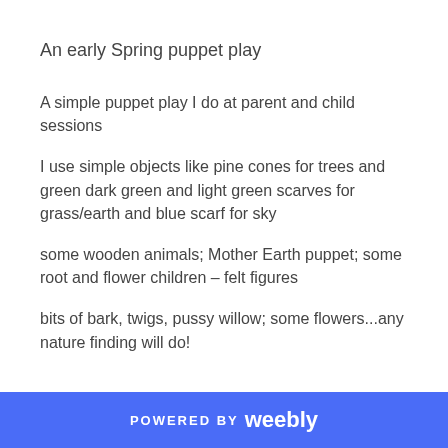An early Spring puppet play
A simple puppet play I do at parent and child sessions
I use simple objects like pine cones for trees and green dark green and light green scarves for grass/earth and blue scarf for sky
some wooden animals; Mother Earth puppet; some root and flower children – felt figures
bits of bark, twigs, pussy willow; some flowers...any nature finding will do!
POWERED BY weebly